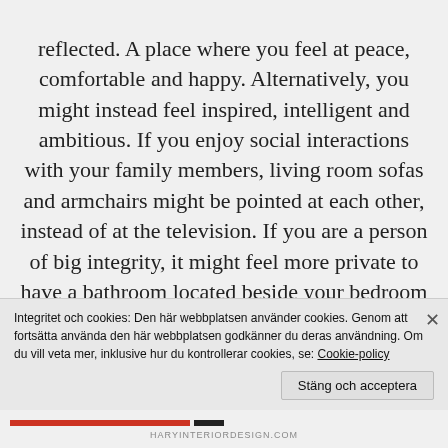reflected. A place where you feel at peace, comfortable and happy. Alternatively, you might instead feel inspired, intelligent and ambitious. If you enjoy social interactions with your family members, living room sofas and armchairs might be pointed at each other, instead of at the television. If you are a person of big integrity, it might feel more private to have a bathroom located beside your bedroom instead of in the hallway. If you appreciate art or poetry, you cover your walls accordingly. Ultimately, your home should be a reflection of
Integritet och cookies: Den här webbplatsen använder cookies. Genom att fortsätta använda den här webbplatsen godkänner du deras användning. Om du vill veta mer, inklusive hur du kontrollerar cookies, se: Cookie-policy